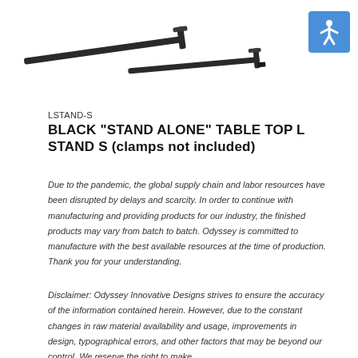[Figure (photo): Black L-shaped stand product photo showing two L-shaped metal arms/legs for a tabletop stand, viewed from above at an angle]
[Figure (logo): Accessibility icon - white person with arms/legs spread inside a blue square with rounded corners]
LSTAND-S
BLACK "STAND ALONE" TABLE TOP L STAND S (clamps not included)
Due to the pandemic, the global supply chain and labor resources have been disrupted by delays and scarcity. In order to continue with manufacturing and providing products for our industry, the finished products may vary from batch to batch. Odyssey is committed to manufacture with the best available resources at the time of production. Thank you for your understanding.
Disclaimer: Odyssey Innovative Designs strives to ensure the accuracy of the information contained herein. However, due to the constant changes in raw material availability and usage, improvements in design, typographical errors, and other factors that may be beyond our control, We reserve the right to make changes to the content of our documents and online resources at the